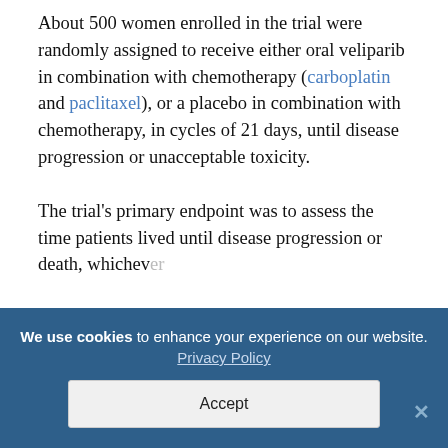About 500 women enrolled in the trial were randomly assigned to receive either oral veliparib in combination with chemotherapy (carboplatin and paclitaxel), or a placebo in combination with chemotherapy, in cycles of 21 days, until disease progression or unacceptable toxicity.

The trial's primary endpoint was to assess the time patients lived until disease progression or death, whichever
We use cookies to enhance your experience on our website. Privacy Policy
Accept